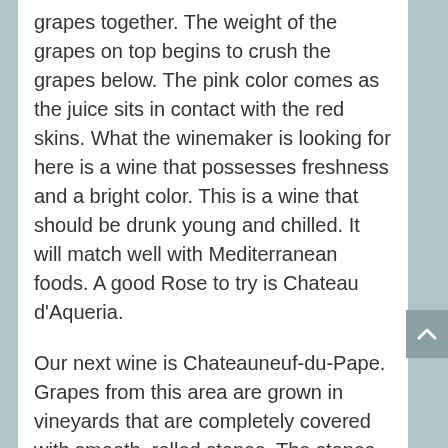grapes together. The weight of the grapes on top begins to crush the grapes below. The pink color comes as the juice sits in contact with the red skins. What the winemaker is looking for here is a wine that possesses freshness and a bright color. This is a wine that should be drunk young and chilled. It will match well with Mediterranean foods. A good Rose to try is Chateau d'Aqueria.
Our next wine is Chateauneuf-du-Pape. Grapes from this area are grown in vineyards that are completely covered with smooth, rolled stones. The stones are a leftover from the glaciers, however there is a benefit to letting them stay. Although the stones make the earth very difficult to work, and tending